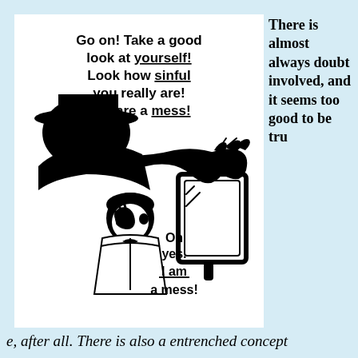[Figure (illustration): Retro comic-style black and white illustration showing a menacing shadowy figure pushing a man's face toward a mirror. The man looks distressed. Speech bubbles read: 'Go on! Take a good look at yourself! Look how sinful you really are! You are a mess!' and 'Oh yes. I am a mess!']
There is almost always doubt involved, and it seems too good to be true, after all. There is also a entrenched concept